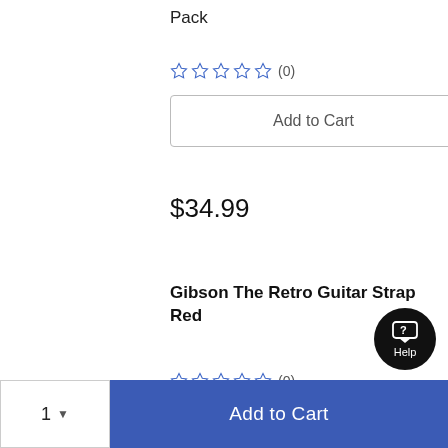Pack
[Figure (other): Five empty blue star rating icons followed by (0) review count]
Add to Cart
$34.99
Gibson The Retro Guitar Strap Red
[Figure (other): Five empty blue star rating icons followed by (0) review count]
1 ▾  Add to Cart